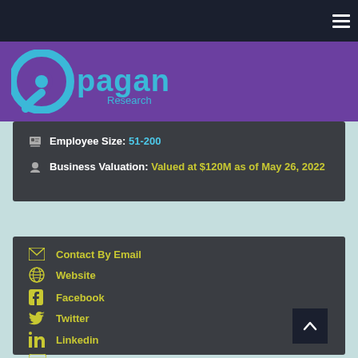Navigation bar with hamburger menu
[Figure (logo): Pagan Research logo — circular P icon in cyan/blue on purple background with 'pagan Research' text]
Employee Size: 51-200
Business Valuation: Valued at $120M as of May 26, 2022
Contact By Email
Website
Facebook
Twitter
Linkedin
Youtube